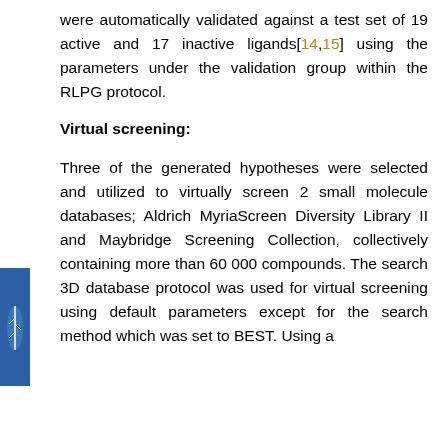were automatically validated against a test set of 19 active and 17 inactive ligands[14,15] using the parameters under the validation group within the RLPG protocol.
Virtual screening:
Three of the generated hypotheses were selected and utilized to virtually screen 2 small molecule databases; Aldrich MyriaScreen Diversity Library II and Maybridge Screening Collection, collectively containing more than 60 000 compounds. The search 3D database protocol was used for virtual screening using default parameters except for the search method which was set to BEST. Using a